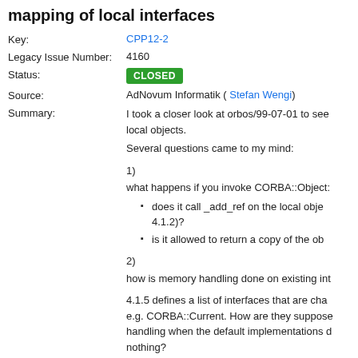mapping of local interfaces
Key: CPP12-2
Legacy Issue Number: 4160
Status: CLOSED
Source: AdNovum Informatik ( Stefan Wengi)
Summary: I took a closer look at orbos/99-07-01 to see local objects. Several questions came to my mind: 1) what happens if you invoke CORBA::Object: does it call _add_ref on the local obje 4.1.2)? is it allowed to return a copy of the ob 2) how is memory handling done on existing int 4.1.5 defines a list of interfaces that are cha e.g. CORBA::Current. How are they suppose handling when the default implementations nothing?